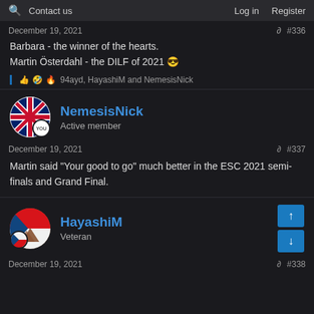🔍 Contact us  Log in  Register
December 19, 2021  #336
Barbara - the winner of the hearts.
Martin Österdahl - the DILF of 2021 😎
👍 🤣 🔥 94ayd, HayashiM and NemesisNick
NemesisNick
Active member
December 19, 2021  #337
Martin said "Your good to go" much better in the ESC 2021 semi-finals and Grand Final.
HayashiM
Veteran
December 19, 2021  #338